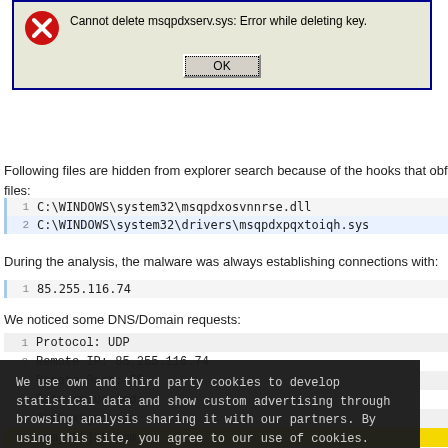[Figure (screenshot): Windows error dialog box with red X icon and text 'Cannot delete msqpdxserv.sys: Error while deleting key.' and an OK button]
Following files are hidden from explorer search because of the hooks that obfuscate files:
| 1 | C:\WINDOWS\system32\msqpdxosvnnrse.dll |
| 2 | C:\WINDOWS\system32\drivers\msqpdxpqxtoiqh.sys |
During the analysis, the malware was always establishing connections with:
| 1 | 85.255.116.74 |
We noticed some DNS/Domain requests:
1  Protocol: UDP
2  Remote IP: 85.255.116.74
3  Remote Port: 53
5  Data requested:
6  fhubwxkgmq.com
7  qmmjwtrjct.com
8  tjonvuhvgy.com
9  asxnrzfdfr.com
10  dabewiktps.com
We use own and third party cookies to develop statistical data and show custom advertising through browsing analysis sharing it with our partners. By using this site, you agree to our use of cookies. Learn more →
Close